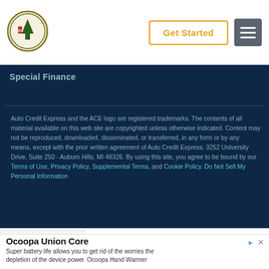[Figure (logo): ACE Auto Credit Express circular logo with green and gold colors]
Get Started
[Figure (other): Hamburger menu icon (three horizontal lines)]
Special Finance
Auto Credit Express and the ACE logo are registered trademarks. The contents of all material available on this web site are copyrighted unless otherwise indicated. Content may not be reproduced, downloaded, disseminated, or transferred, in any form or by any means, except with the prior written agreement of Auto Credit Express. 3252 University Drive, Suite 250 - Auburn Hills, MI 48326. By using this site, you agree to be bound by our Terms of Use, Privacy Policy, Supplemental Terms, and Cookie Policy. Do Not Sell My Personal Information
Ocoopa Union Core
Super battery life allows you to get rid of the worries the depletion of the device power. Ocoopa Hand Warmer
Learn More